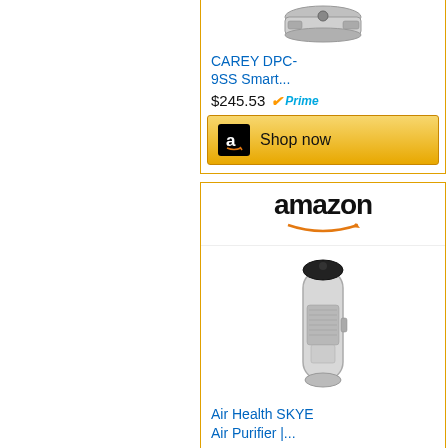[Figure (screenshot): Amazon product ad for CAREY DPC-9SS Smart... showing product image at top, title in blue, price $245.53, Prime badge, and Shop now button]
[Figure (screenshot): Amazon product ad for Air Health SKYE Air Purifier showing Amazon logo header, product image of tall air purifier, title in blue, price $463.99, Prime badge, and Shop now button]
[Figure (screenshot): Partial Amazon product ad at bottom showing Amazon logo header and partial product image]